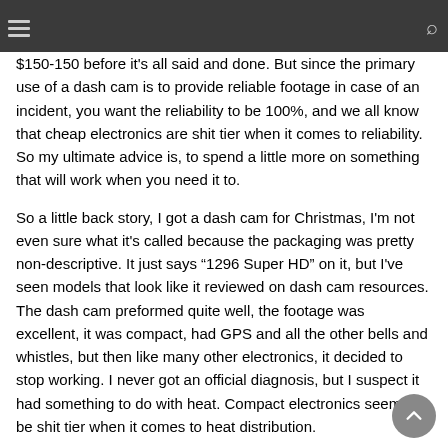[navigation bar with hamburger menu and search icon]
$150-150 before it's all said and done.  But since the primary use of a dash cam is to provide reliable footage in case of an incident, you want the reliability to be 100%, and we all know that cheap electronics are shit tier when it comes to reliability.  So my ultimate advice is, to spend a little more on something that will work when you need it to.
So a little back story, I got a dash cam for Christmas, I'm not even sure what it's called because the packaging was pretty non-descriptive.  It just says “1296 Super HD” on it, but I've seen models that look like it reviewed on dash cam resources.  The dash cam preformed quite well, the footage was excellent, it was compact, had GPS and all the other bells and whistles, but then like many other electronics, it decided to stop working.   I never got an official diagnosis, but I suspect it had something to do with heat.  Compact electronics seem to be shit tier when it comes to heat distribution.
Long story short, I need a new one.  One that will last, will be reliable and won't cost me my kidney.